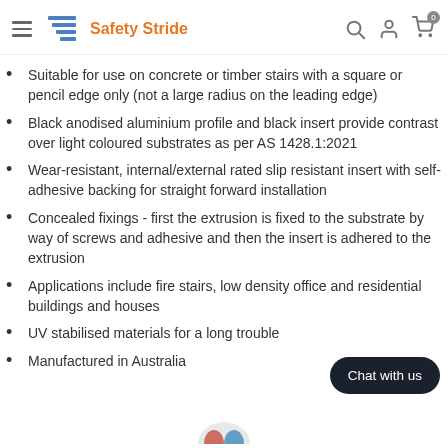Safety Stride
Suitable for use on concrete or timber stairs with a square or pencil edge only (not a large radius on the leading edge)
Black anodised aluminium profile and black insert provide contrast over light coloured substrates as per AS 1428.1:2021
Wear-resistant, internal/external rated slip resistant insert with self-adhesive backing for straight forward installation
Concealed fixings - first the extrusion is fixed to the substrate by way of screws and adhesive and then the insert is adhered to the extrusion
Applications include fire stairs, low density office and residential buildings and houses
UV stabilised materials for a long trouble...
Manufactured in Australia